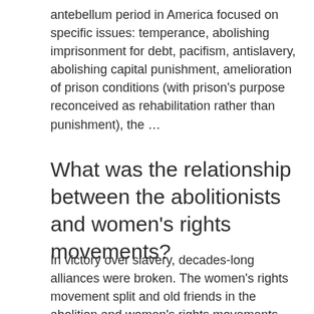antebellum period in America focused on specific issues: temperance, abolishing imprisonment for debt, pacifism, antislavery, abolishing capital punishment, amelioration of prison conditions (with prison's purpose reconceived as rehabilitation rather than punishment), the …
What was the relationship between the abolitionists and women's rights movements?
In victory over slavery, decades-long alliances were broken. The women's rights movement split and old friends in the abolition and women's rights movements